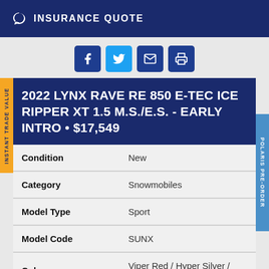INSURANCE QUOTE
[Figure (other): Social sharing icons: Facebook, Twitter, Email, Print]
2022 LYNX RAVE RE 850 E-TEC ICE RIPPER XT 1.5 M.S./E.S. - EARLY INTRO • $17,549
| Field | Value |
| --- | --- |
| Condition | New |
| Category | Snowmobiles |
| Model Type | Sport |
| Model Code | SUNX |
| Color | Viper Red / Hyper Silver / Black |